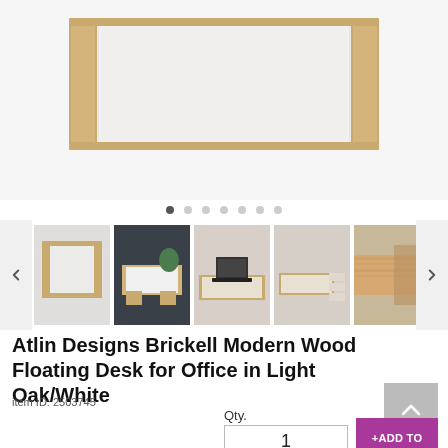[Figure (photo): Main product image of Atlin Designs Brickell Modern Wood Floating Desk showing the desk from the front, in light oak and white finish]
[Figure (photo): Thumbnail carousel with 5 visible thumbnails of the desk from various angles, with left and right navigation arrows and pagination dots]
Atlin Designs Brickell Modern Wood Floating Desk for Office in Light Oak/White
Item ID: 2503745
Qty.
1
− +
+ADD TO CART